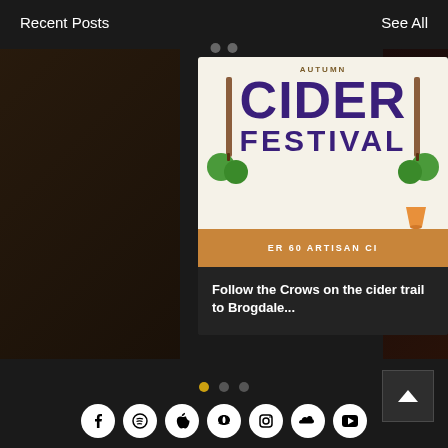Recent Posts
See All
[Figure (screenshot): Cider Festival promotional image with large purple text reading CIDER FESTIVAL on white background with apple graphics, brown/orange banner at bottom reading ER 60 ARTISAN CI]
Follow the Crows on the cider trail to Brogdale...
[Figure (infographic): Carousel navigation dots: one yellow/active dot followed by two grey dots]
[Figure (infographic): Back to top button with upward chevron arrow icon]
[Figure (infographic): Row of 7 social media icons: Facebook, Spotify, Apple, Amazon, Instagram, SoundCloud, YouTube]
© 2021 by The Old Country Crows.  Proudly created with Wix.com